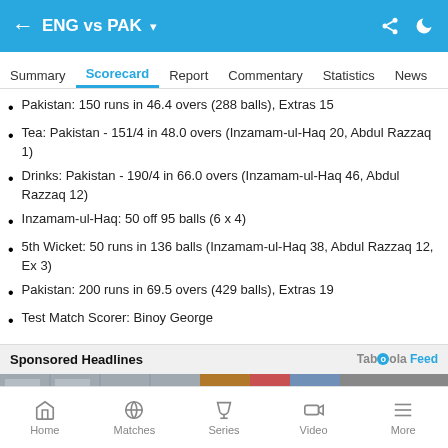ENG vs PAK
Summary  Scorecard  Report  Commentary  Statistics  News
Pakistan: 150 runs in 46.4 overs (288 balls), Extras 15
Tea: Pakistan - 151/4 in 48.0 overs (Inzamam-ul-Haq 20, Abdul Razzaq 1)
Drinks: Pakistan - 190/4 in 66.0 overs (Inzamam-ul-Haq 46, Abdul Razzaq 12)
Inzamam-ul-Haq: 50 off 95 balls (6 x 4)
5th Wicket: 50 runs in 136 balls (Inzamam-ul-Haq 38, Abdul Razzaq 12, Ex 3)
Pakistan: 200 runs in 69.5 overs (429 balls), Extras 19
Test Match Scorer: Binoy George
Sponsored Headlines
[Figure (photo): Sponsored image strip from Taboola feed]
Home  Matches  Series  Video  More